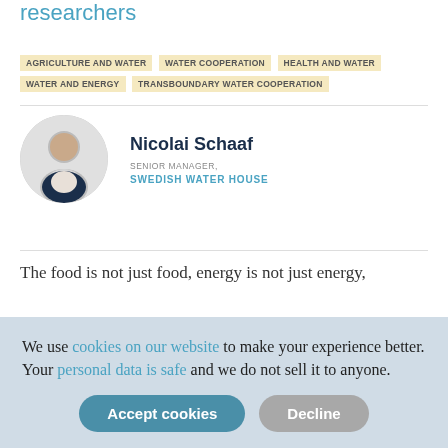researchers
AGRICULTURE AND WATER
WATER COOPERATION
HEALTH AND WATER
WATER AND ENERGY
TRANSBOUNDARY WATER COOPERATION
Nicolai Schaaf
SENIOR MANAGER,
SWEDISH WATER HOUSE
The food is not just food, energy is not just energy,
We use cookies on our website to make your experience better. Your personal data is safe and we do not sell it to anyone.
Accept cookies | Decline